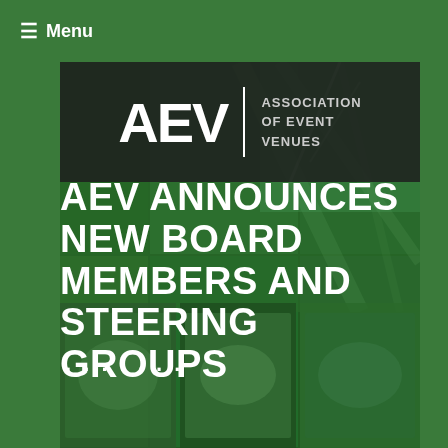≡ Menu
[Figure (logo): AEV - Association of Event Venues logo on dark background banner]
AEV ANNOUNCES NEW BOARD MEMBERS AND STEERING GROUPS
[Figure (photo): Collage of event venue photos with green tint overlay showing indoor arenas, outdoor venues, crowds, and handshakes]